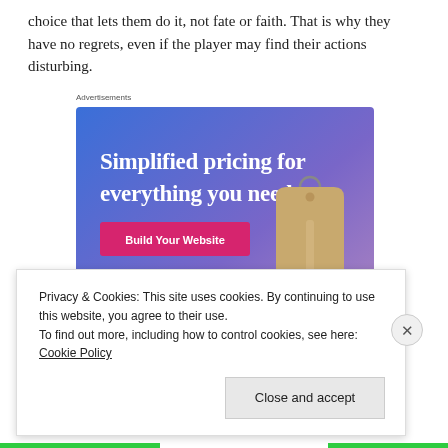choice that lets them do it, not fate or faith. That is why they have no regrets, even if the player may find their actions disturbing.
[Figure (infographic): Advertisement banner with blue-purple gradient background showing text 'Simplified pricing for everything you need.' with a pink 'Build Your Website' button and a tan price tag image on the right.]
Privacy & Cookies: This site uses cookies. By continuing to use this website, you agree to their use.
To find out more, including how to control cookies, see here: Cookie Policy
Close and accept